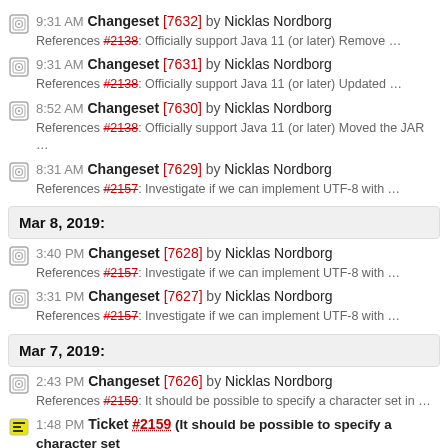9:31 AM Changeset [7632] by Nicklas Nordborg — References #2138: Officially support Java 11 (or later) Remove …
9:31 AM Changeset [7631] by Nicklas Nordborg — References #2138: Officially support Java 11 (or later) Updated …
8:52 AM Changeset [7630] by Nicklas Nordborg — References #2138: Officially support Java 11 (or later) Moved the JAR …
8:31 AM Changeset [7629] by Nicklas Nordborg — References #2157: Investigate if we can implement UTF-8 with …
Mar 8, 2019:
3:40 PM Changeset [7628] by Nicklas Nordborg — References #2157: Investigate if we can implement UTF-8 with …
3:31 PM Changeset [7627] by Nicklas Nordborg — References #2157: Investigate if we can implement UTF-8 with …
Mar 7, 2019:
2:43 PM Changeset [7626] by Nicklas Nordborg — References #2159: It should be possible to specify a character set in …
1:48 PM Ticket #2159 (It should be possible to specify a character set …